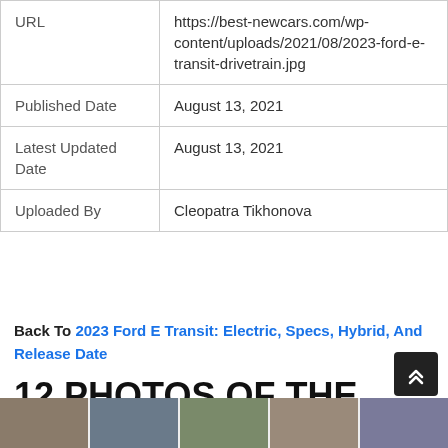| URL | https://best-newcars.com/wp-content/uploads/2021/08/2023-ford-e-transit-drivetrain.jpg |
| Published Date | August 13, 2021 |
| Latest Updated Date | August 13, 2021 |
| Uploaded By | Cleopatra Tikhonova |
Back To 2023 Ford E Transit: Electric, Specs, Hybrid, And Release Date
12 PHOTOS OF THE "2023 FORD E TRANSIT: ELECTRIC, SPECS, HYBRID, AND RELEASE DATE"
[Figure (photo): Thumbnail strip of car photos at the bottom of the page]